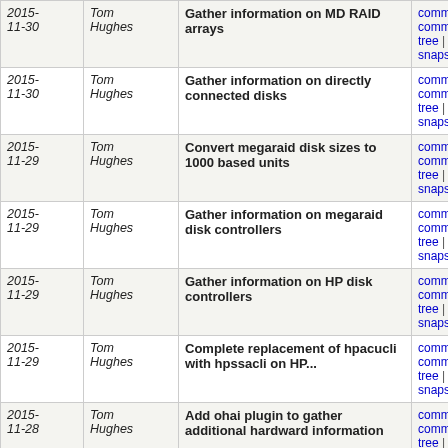| Date | Author | Message | Links |
| --- | --- | --- | --- |
| 2015-11-30 | Tom Hughes | Gather information on MD RAID arrays | commit | commitdiff | tree | snapshot |
| 2015-11-30 | Tom Hughes | Gather information on directly connected disks | commit | commitdiff | tree | snapshot |
| 2015-11-29 | Tom Hughes | Convert megaraid disk sizes to 1000 based units | commit | commitdiff | tree | snapshot |
| 2015-11-29 | Tom Hughes | Gather information on megaraid disk controllers | commit | commitdiff | tree | snapshot |
| 2015-11-29 | Tom Hughes | Gather information on HP disk controllers | commit | commitdiff | tree | snapshot |
| 2015-11-29 | Tom Hughes | Complete replacement of hpacucli with hpssacli on HP... | commit | commitdiff | tree | snapshot |
| 2015-11-28 | Tom Hughes | Add ohai plugin to gather additional hardward information | commit | commitdiff | tree | snapshot |
| 2015-11-28 | Sarah Hoffmann | Revert "nominatim: disable redirect to poldi" | commit | commitdiff | tree | snapshot |
| 2015-11-27 | Sarah Hoffmann | nominatim: disable redirect to poldi | commit | commitdiff | tree | snapshot |
| 2015-11-26 | Tom Hughes | Add internal interface details for dulcy | commit | commitdiff | tree | snapshot |